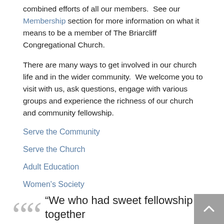combined efforts of all our members.  See our Membership section for more information on what it means to be a member of The Briarcliff Congregational Church.
There are many ways to get involved in our church life and in the wider community.  We welcome you to visit with us, ask questions, engage with various groups and experience the richness of our church and community fellowship.
Serve the Community
Serve the Church
Adult Education
Women's Society
Membership
Stewardship
Benevolence and Outreach
“We who had sweet fellowship together